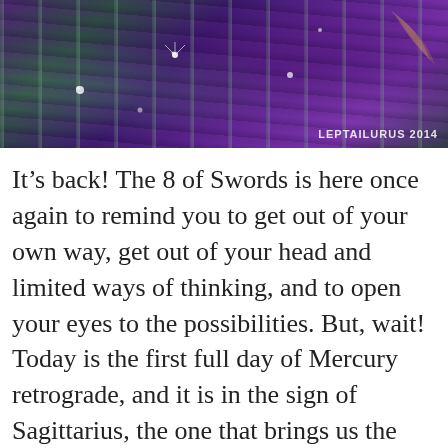[Figure (illustration): A dark fantasy illustration featuring a black furry creature among purple and green vertical bar-like shapes, with sparkles/light spots. Watermark reads 'LEPTAILURUS 2014' in bottom right corner.]
It's back! The 8 of Swords is here once again to remind you to get out of your own way, get out of your head and limited ways of thinking, and to open your eyes to the possibilities. But, wait! Today is the first full day of Mercury retrograde, and it is in the sign of Sagittarius, the one that brings us the BIG Picture. Very often, when we see the 8 of Swords, we feel powerless to find the way out of a particular situation. I will be